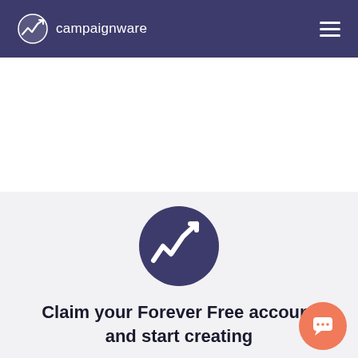campaignware
[Figure (logo): Campaignware logo with trending-up arrow icon in a circle on dark navy navigation bar]
[Figure (illustration): Large dark navy circle with white trending-up zigzag arrow icon, centered on light gray background]
Claim your Forever Free account and start creating
[Figure (illustration): Orange circular chat/support button with white chat icon in bottom-right corner]